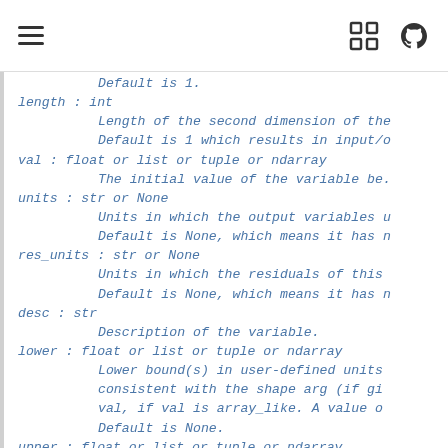≡  [fullscreen] [github]
Default is 1.
length : int
    Length of the second dimension of the
    Default is 1 which results in input/o
val : float or list or tuple or ndarray
    The initial value of the variable be.
units : str or None
    Units in which the output variables u
    Default is None, which means it has n
res_units : str or None
    Units in which the residuals of this
    Default is None, which means it has n
desc : str
    Description of the variable.
lower : float or list or tuple or ndarray
    Lower bound(s) in user-defined units
    consistent with the shape arg (if gi
    val, if val is array_like. A value o
    Default is None.
upper : float or list or tuple or ndarray
    Upper bound(s) in user-defined units
    consistent with the shape arg (if gi
    val, if val is array_like. A value o
    Default is N...